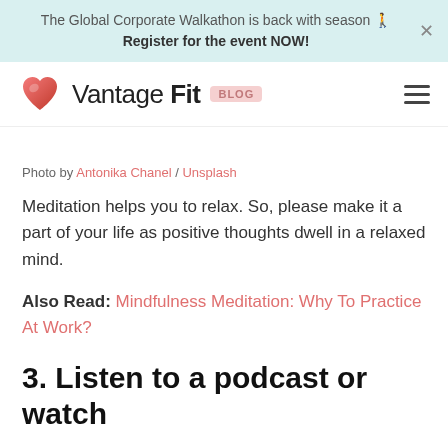The Global Corporate Walkathon is back with season 🏃 Register for the event NOW!
Vantage Fit BLOG
Photo by Antonika Chanel / Unsplash
Meditation helps you to relax. So, please make it a part of your life as positive thoughts dwell in a relaxed mind.
Also Read: Mindfulness Meditation: Why To Practice At Work?
3. Listen to a podcast or watch motivational videos